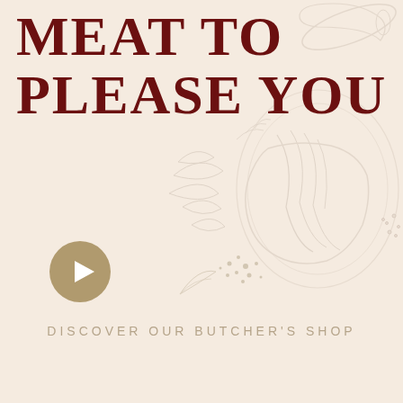MEAT TO PLEASE YOU
[Figure (illustration): Decorative illustration of meat/steak on a plate with herbs and leaves, rendered in light sepia/grey tones]
[Figure (other): Gold circular play button with white triangle]
DISCOVER OUR BUTCHER'S SHOP